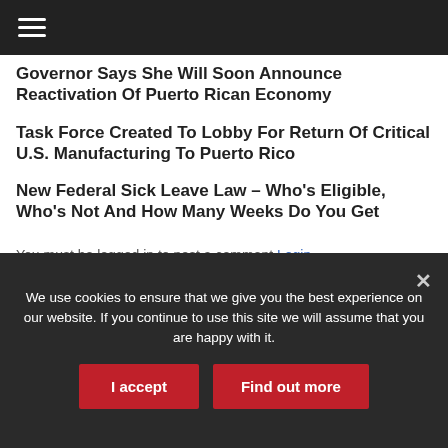Governor Says She Will Soon Announce Reactivation Of Puerto Rican Economy
Task Force Created To Lobby For Return Of Critical U.S. Manufacturing To Puerto Rico
New Federal Sick Leave Law – Who's Eligible, Who's Not And How Many Weeks Do You Get
You must be logged in to post a comment Login
We use cookies to ensure that we give you the best experience on our website. If you continue to use this site we will assume that you are happy with it.